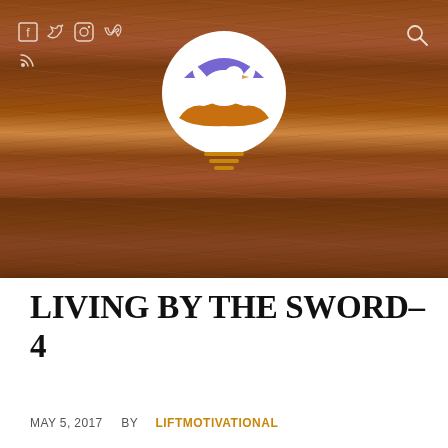[Figure (photo): Wood plank background with a circular logo featuring a white dove over cupped hands with a purple arc, centered on the hero image. Social media icons (Facebook, Twitter, Instagram, Vimeo, RSS) on the top left and a search icon on the top right.]
LIVING BY THE SWORD- 4
MAY 5, 2017   BY LIFTMOTIVATIONAL